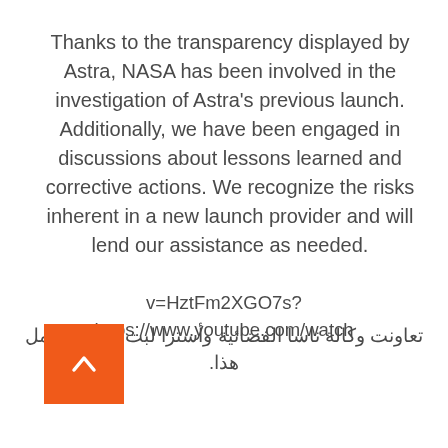Thanks to the transparency displayed by Astra, NASA has been involved in the investigation of Astra's previous launch. Additionally, we have been engaged in discussions about lessons learned and corrective actions. We recognize the risks inherent in a new launch provider and will lend our assistance as needed.
https://www.youtube.com/watch?v=HztFm2XGO7s
تعاونت وكالة ناسا الفضائية وأسترا لبث إصدار العمل هذا.
[Figure (other): Orange square button with upward-pointing chevron arrow (back-to-top button)]